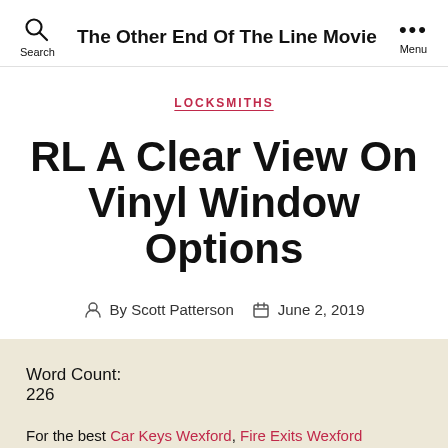The Other End Of The Line Movie
LOCKSMITHS
RL A Clear View On Vinyl Window Options
By Scott Patterson  June 2, 2019
Word Count:
226
For the best Car Keys Wexford, Fire Exits Wexford